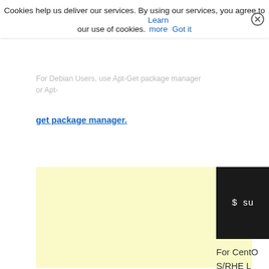manager
Cookies help us deliver our services. By using our services, you agree to our use of cookies. Learn more  Got it
For Debian Users, use Apt-Get package manager or Apt-get package manager.
[Figure (screenshot): Yellow advertisement/content box placeholder]
[Figure (screenshot): Terminal black box showing command: $ su]
For CentOS/RHEL Users, enable EPEL repository